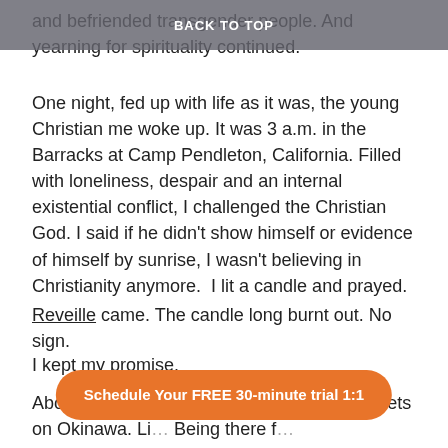BACK TO TOP
and befriended transgender people. And yearning for spirituality continued.
One night, fed up with life as it was, the young Christian me woke up. It was 3 a.m. in the Barracks at Camp Pendleton, California. Filled with loneliness, despair and an internal existential conflict, I challenged the Christian God. I said if he didn't show himself or evidence of himself by sunrise, I wasn't believing in Christianity anymore.  I lit a candle and prayed.
Reveille came. The candle long burnt out. No sign.
I kept my promise.
About a year later I was walking through streets on Okinawa. Li… Being there f…
Schedule Your FREE 30-minute trial 1:1